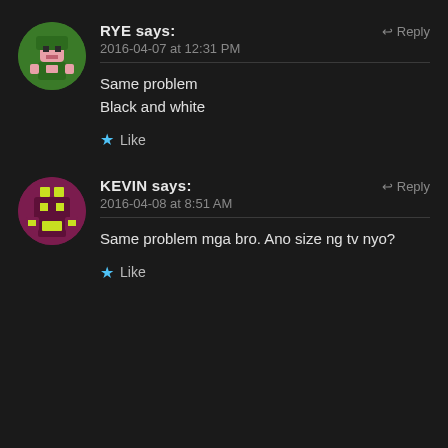[Figure (illustration): Pixel art avatar of RYE - green and pink blocky character]
RYE says:
2016-04-07 at 12:31 PM
Same problem
Black and white
★ Like
[Figure (illustration): Pixel art avatar of KEVIN - maroon and yellow-green blocky character]
KEVIN says:
2016-04-08 at 8:51 AM
Same problem mga bro. Ano size ng tv nyo?
★ Like